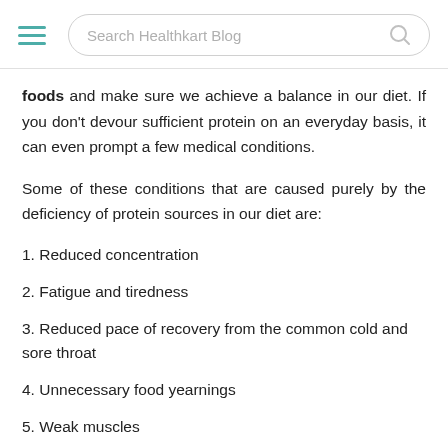Search Healthkart Blog
foods and make sure we achieve a balance in our diet. If you don't devour sufficient protein on an everyday basis, it can even prompt a few medical conditions.
Some of these conditions that are caused purely by the deficiency of protein sources in our diet are:
1. Reduced concentration
2. Fatigue and tiredness
3. Reduced pace of recovery from the common cold and sore throat
4. Unnecessary food yearnings
5. Weak muscles